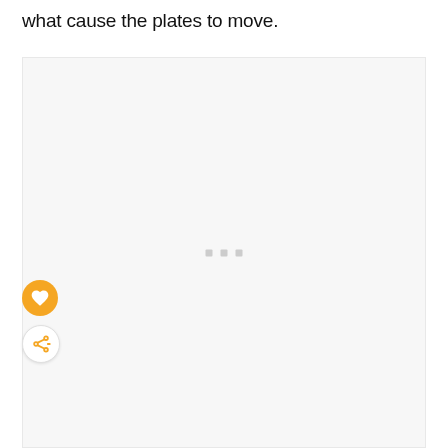what cause the plates to move.
[Figure (other): Loading image placeholder with light gray background and three small gray square dots in the center indicating content is loading. An orange heart/favorite button and a white share button are overlaid on the left side.]